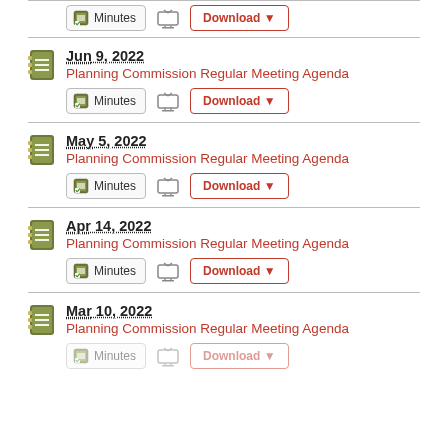Jun 9, 2022 – Planning Commission Regular Meeting Agenda
May 5, 2022 – Planning Commission Regular Meeting Agenda
Apr 14, 2022 – Planning Commission Regular Meeting Agenda
Mar 10, 2022 – Planning Commission Regular Meeting Agenda